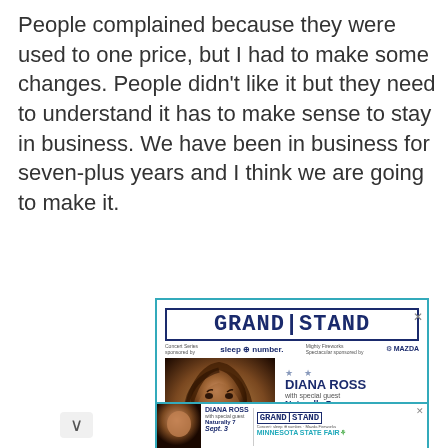People complained because they were used to one price, but I had to make some changes. People didn't like it but they need to understand it has to make sense to stay in business. We have been in business for seven-plus years and I think we are going to make it.
[Figure (illustration): Advertisement for Grandstand Concert Series at Minnesota State Fair featuring Diana Ross with special guest Naturally 7, Sept. 3. Sponsored by Sleep Number and Mazda. Shows photo of Diana Ross.]
[Figure (illustration): Bottom banner advertisement for the same Grandstand/Diana Ross/Minnesota State Fair event.]